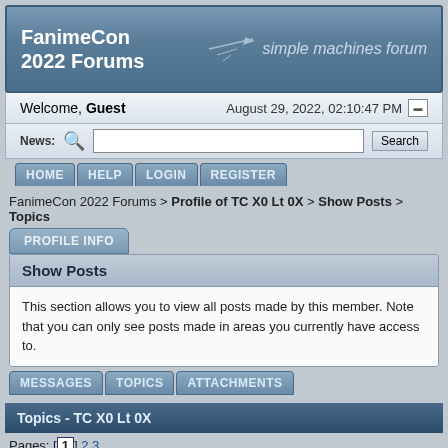FanimeCon 2022 Forums — simple machines forum
Welcome, Guest    August 29, 2022, 02:10:47 PM
News:  [search box]  Search
HOME  HELP  LOGIN  REGISTER
FanimeCon 2022 Forums > Profile of TC X0 Lt 0X > Show Posts > Topics
PROFILE INFO
Show Posts
This section allows you to view all posts made by this member. Note that you can only see posts made in areas you currently have access to.
MESSAGES  TOPICS  ATTACHMENTS
Topics - TC X0 Lt 0X
Pages: [1] 2 3
1  General Convention Discussion / 2019 Weather Report
« on: May 14, 2019, 07:51:47 PM »